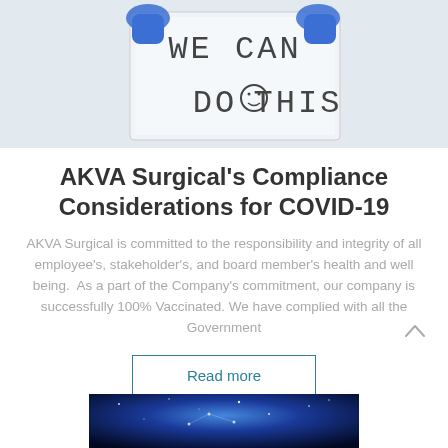[Figure (photo): Person wearing blue gloves holding a white sign that reads 'WE CAN DO THIS' with a smiley face]
AKVA Surgical's Compliance Considerations for COVID-19
AKVA Surgical is committed to the responsibility and integrity of all employee's, stakeholder's, and board member's health and well being. As a part of the Company's commitment, our company is successfully 100% Vaccinated. We have complied with all the Government
[Figure (photo): Blue galaxy/space background image at bottom of page]